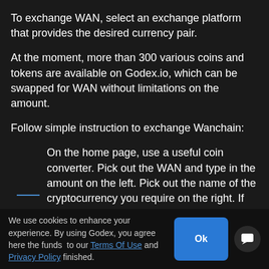To exchange WAN, select an exchange platform that provides the desired currency pair.
At the moment, more than 300 various coins and tokens are available on Godex.io, which can be swapped for WAN without limitations on the amount.
Follow simple instruction to exchange Wanchain:
On the home page, use a useful coin converter. Pick out the WAN and type in the amount on the left. Pick out the name of the cryptocurrency you require on the right. If the rate suggested by the exchange is good for you, click the “Exchange” button.
We use cookies to enhance your experience. By using Godex, you agree to our Terms Of Use and Privacy Policy